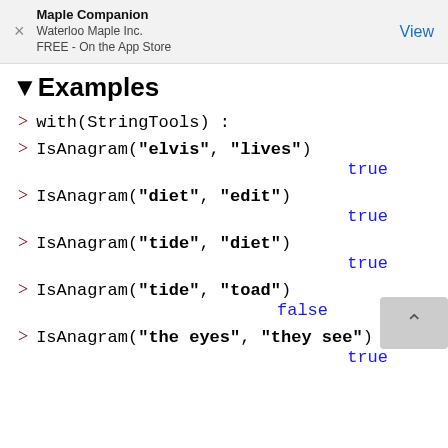Maple Companion
Waterloo Maple Inc.
FREE - On the App Store
▼Examples
> with(StringTools) :
> IsAnagram("elvis", "lives")
true
> IsAnagram("diet", "edit")
true
> IsAnagram("tide", "diet")
true
> IsAnagram("tide", "toad")
false
> IsAnagram("the eyes", "they see")
true